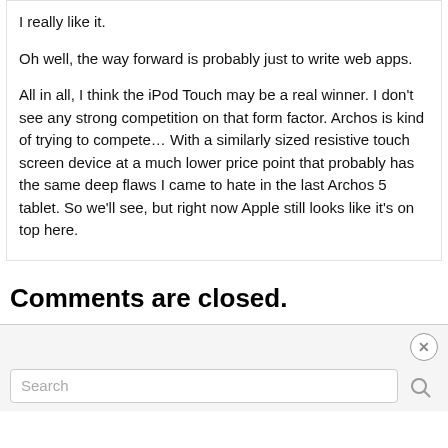I really like it.

Oh well, the way forward is probably just to write web apps.

All in all, I think the iPod Touch may be a real winner. I don't see any strong competition on that form factor. Archos is kind of trying to compete… With a similarly sized resistive touch screen device at a much lower price point that probably has the same deep flaws I came to hate in the last Archos 5 tablet. So we'll see, but right now Apple still looks like it's on top here.
Comments are closed.
Search